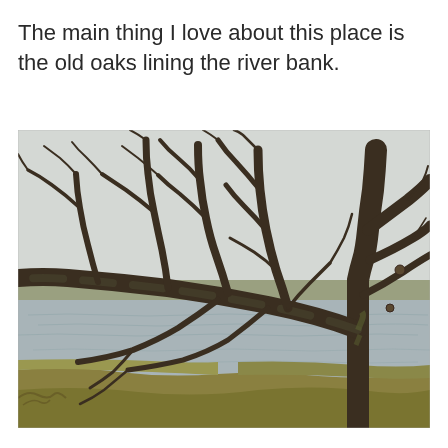The main thing I love about this place is the old oaks lining the river bank.
[Figure (photo): Photograph of large old oak trees with bare, gnarled branches spreading horizontally over a river bank. The trees are leafless, showing intricate branching patterns. A calm river and flat, muted landscape are visible in the background. Green grass is visible in the foreground.]